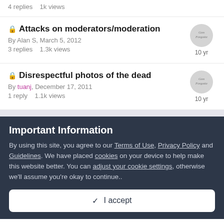4 replies   1k views
🔒 Attacks on moderators/moderation
By Alan S, March 5, 2012
3 replies   1.3k views
🔒 Disrespectful photos of the dead
By tuanj, December 17, 2011
1 reply   1.1k views
Important Information
By using this site, you agree to our Terms of Use, Privacy Policy and Guidelines. We have placed cookies on your device to help make this website better. You can adjust your cookie settings, otherwise we'll assume you're okay to continue..